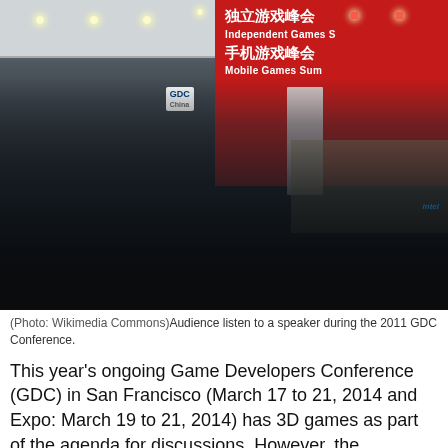[Figure (photo): Audience seated in rows listening to a speaker at a podium during the 2011 GDC Conference. A large red banner in the background reads Independent Games Summit and Mobile Games Summit in both Chinese and English. The GDC China logo is visible on the podium.]
(Photo: Wikimedia Commons)Audience listen to a speaker during the 2011 GDC Conference.
This year's ongoing Game Developers Conference (GDC) in San Francisco (March 17 to 21, 2014 and Expo: March 19 to 21, 2014) has 3D games as part of the agenda for discussions. However, the conference will not only be for technology, but is also expected to have discussions around